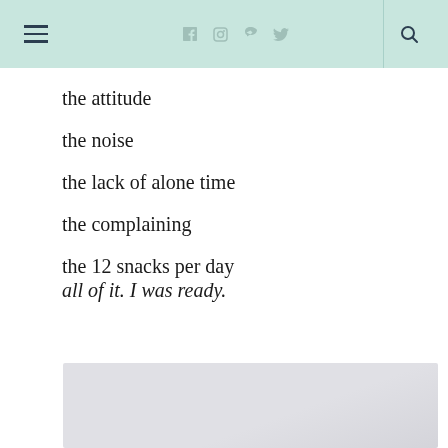Navigation bar with hamburger menu, social icons (f, camera, p, twitter), and search
the attitude
the noise
the lack of alone time
the complaining
the 12 snacks per day
all of it. I was ready.
[Figure (photo): A light grey/white photograph, partially visible at the bottom of the page]